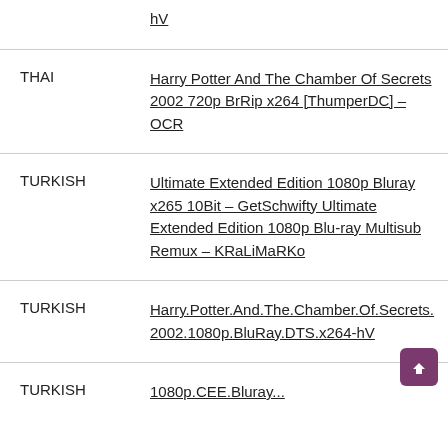| Language | Title |
| --- | --- |
|  | hV |
| THAI | Harry Potter And The Chamber Of Secrets 2002 720p BrRip x264 [ThumperDC] – OCR |
| TURKISH | Ultimate Extended Edition 1080p Bluray x265 10Bit – GetSchwifty Ultimate Extended Edition 1080p Blu-ray Multisub Remux – KRaLiMaRKo |
| TURKISH | Harry.Potter.And.The.Chamber.Of.Secrets.2002.1080p.BluRay.DTS.x264-hV |
| TURKISH | 1080p.CEE.Bluray... |